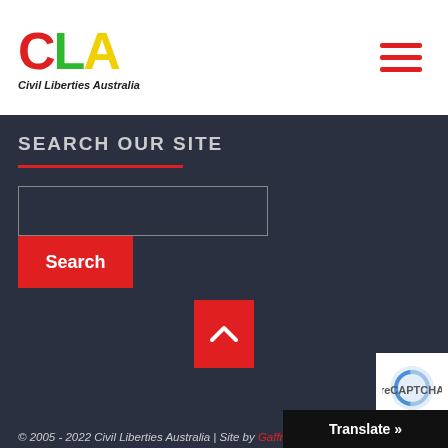[Figure (logo): Civil Liberties Australia logo with CLA letters in red, green, yellow and italic tagline 'Civil Liberties Australia']
[Figure (other): Red hamburger menu icon (three horizontal red bars)]
SEARCH OUR SITE
[Figure (other): Search input box and Search button]
[Figure (other): Red back-to-top button with upward chevron]
© 2005 - 2022 Civil Liberties Australia | Site by Gaffrey Designs
[Figure (other): reCAPTCHA badge partially visible]
Translate »